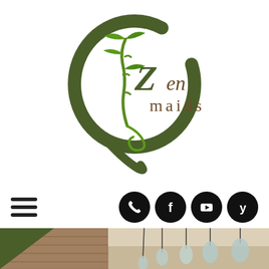[Figure (logo): Zen Maids logo: circular dark green brushstroke encircling bamboo plant illustration with 'Zen maids' text in brown/green]
[Figure (infographic): Navigation bar with hamburger menu icon on left and four social media icons (phone, Facebook, YouTube, Yelp) on right, all black circles]
[Figure (photo): Interior room photo showing hanging glass pendant lights against a rustic brick wall, warm tones]